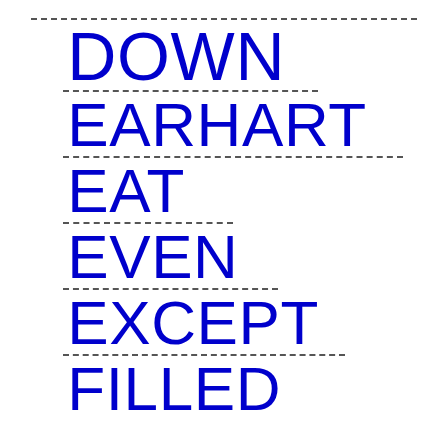DOWN
EARHART
EAT
EVEN
EXCEPT
FILLED